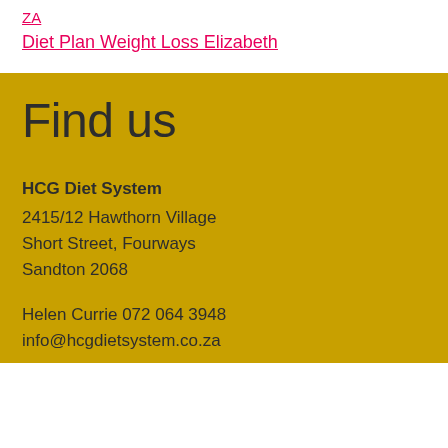ZA
Diet Plan Weight Loss Elizabeth
Find us
HCG Diet System
2415/12 Hawthorn Village
Short Street, Fourways
Sandton 2068
Helen Currie 072 064 3948
info@hcgdietsystem.co.za